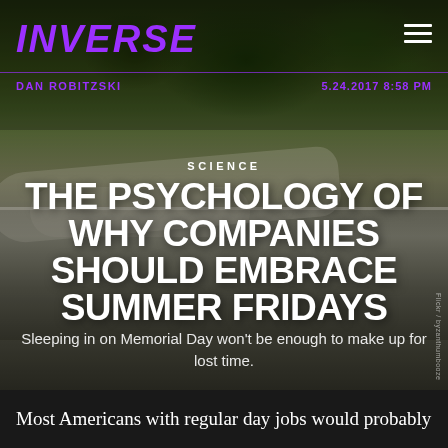[Figure (photo): Background photo of people lying on a stone ledge/steps outdoors with green bushes and trees behind them. The Inverse magazine article header image.]
INVERSE
DAN ROBITZSKI
5.24.2017 8:58 PM
SCIENCE
THE PSYCHOLOGY OF WHY COMPANIES SHOULD EMBRACE SUMMER FRIDAYS
Sleeping in on Memorial Day won't be enough to make up for lost time.
Flickr / byzanthumbooze
Most Americans with regular day jobs would probably